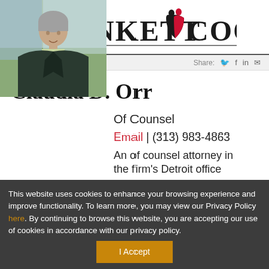[Figure (logo): Plunkett Cooney law firm logo with two figures and heart shape in red and black]
Share:
Claudia D. Orr
[Figure (photo): Professional headshot of Claudia D. Orr, a woman with short gray hair wearing a dark blazer]
Of Counsel
Email | (313) 983-4863
An of counsel attorney in the firm's Detroit office
This website uses cookies to enhance your browsing experience and improve functionality. To learn more, you may view our Privacy Policy here. By continuing to browse this website, you are accepting our use of cookies in accordance with our privacy policy.